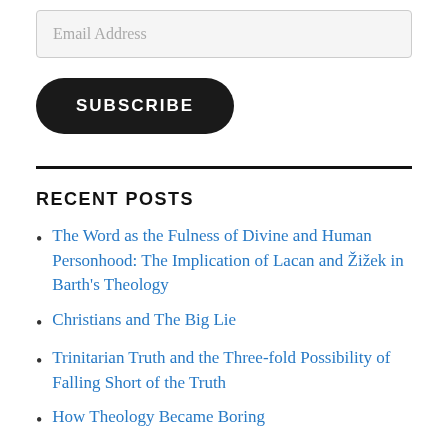Email Address
SUBSCRIBE
RECENT POSTS
The Word as the Fulness of Divine and Human Personhood: The Implication of Lacan and Žižek in Barth's Theology
Christians and The Big Lie
Trinitarian Truth and the Three-fold Possibility of Falling Short of the Truth
How Theology Became Boring